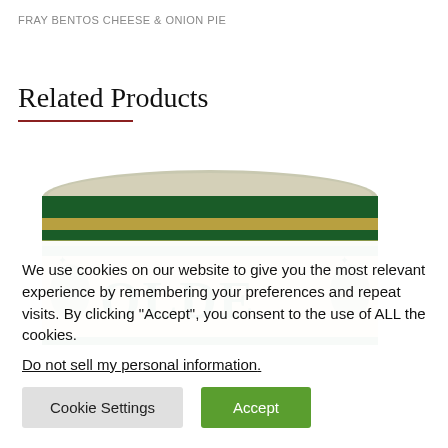FRAY BENTOS CHEESE & ONION PIE
Related Products
[Figure (photo): Top portion of a Fray Bentos branded tin can with green and gold label showing partial text 'OLDE']
We use cookies on our website to give you the most relevant experience by remembering your preferences and repeat visits. By clicking “Accept”, you consent to the use of ALL the cookies.
Do not sell my personal information.